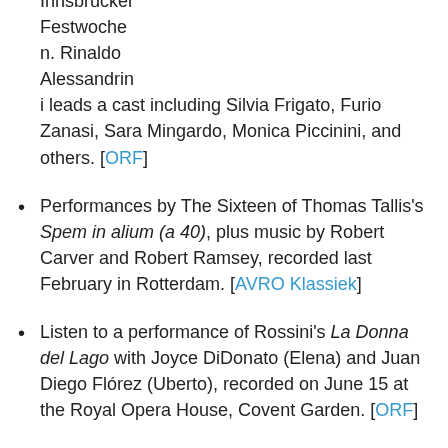Innsbrucker Festwochen. Rinaldo Alessandrin i leads a cast including Silvia Frigato, Furio Zanasi, Sara Mingardo, Monica Piccinini, and others. [ORF]
Performances by The Sixteen of Thomas Tallis's Spem in alium (a 40), plus music by Robert Carver and Robert Ramsey, recorded last February in Rotterdam. [AVRO Klassiek]
Listen to a performance of Rossini's La Donna del Lago with Joyce DiDonato (Elena) and Juan Diego Flórez (Uberto), recorded on June 15 at the Royal Opera House, Covent Garden. [ORF]
From the Basilica of St. Kunibert in Cologne, for the Festival "Romanischer Sommer Köln 2013," the Tallis Scholars from Covent with Tom...